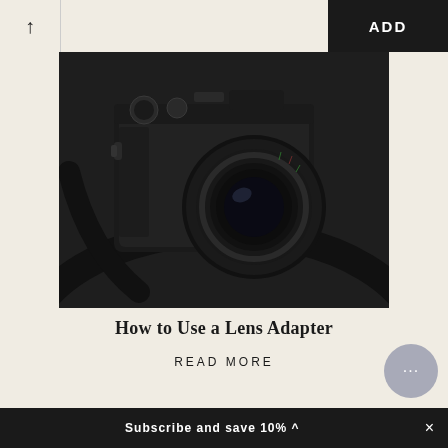↑  ADD
[Figure (photo): A black mirrorless camera with a manual lens and leather camera strap on a dark background]
How to Use a Lens Adapter
READ MORE
Subscribe and save 10% ^  ×